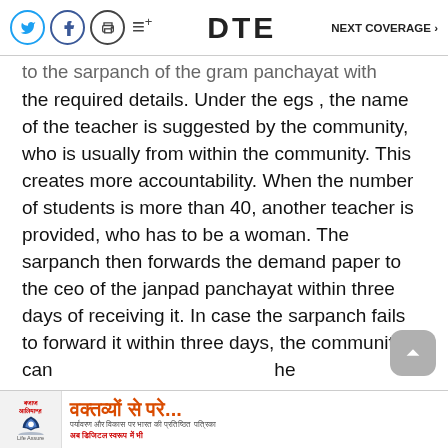DTE  NEXT COVERAGE ›
to the sarpanch of the gram panchayat with the required details. Under the egs , the name of the teacher is suggested by the community, who is usually from within the community. This creates more accountability. When the number of students is more than 40, another teacher is provided, who has to be a woman. The sarpanch then forwards the demand paper to the ceo of the janpad panchayat within three days of receiving it. In case the sarpanch fails to forward it within three days, the community can he ceo s
[Figure (other): Advertisement banner with Hindi text 'वक्तव्यों से परे...' and logo of an insurance/financial company with umbrella icon]